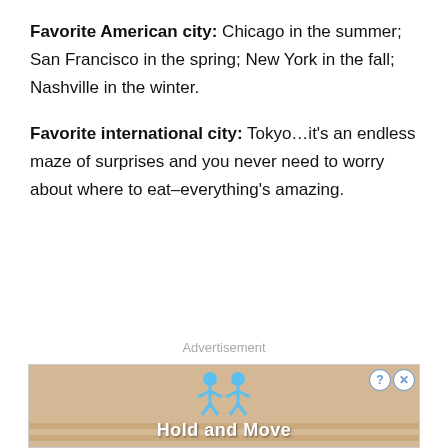Favorite American city: Chicago in the summer; San Francisco in the spring; New York in the fall; Nashville in the winter.
Favorite international city: Tokyo…it's an endless maze of surprises and you never need to worry about where to eat–everything's amazing.
Advertisement
[Figure (screenshot): Advertisement banner for 'Hold and Move' game showing two blue stick figures on a wooden surface with close/question mark buttons in top right corner.]